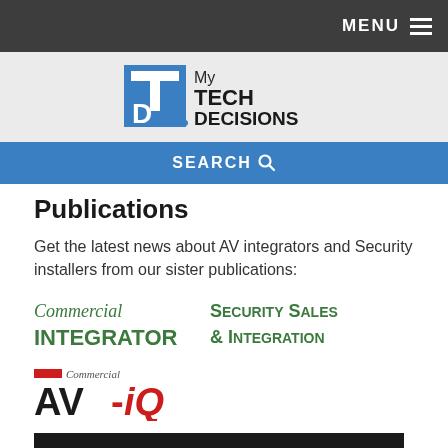MENU
[Figure (logo): My Tech Decisions logo — blue square with TD letters, beside 'My TECH DECISIONS' text]
SEARCH
Publications
Get the latest news about AV integrators and Security installers from our sister publications:
[Figure (logo): Commercial Integrator logo in green]
[Figure (logo): Security Sales & Integration logo in green]
[Figure (logo): Commercial AV-iQ logo in black and red]
[Figure (other): Dark banner reading: Are You Subscribed to the My TechDecisions Podcast?]